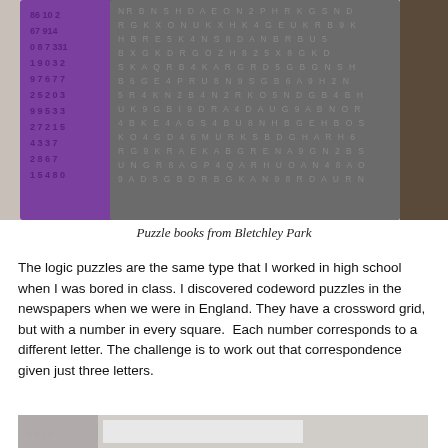[Figure (photo): Two puzzle books from Bletchley Park on a textured surface. One book is purple with numbers, the other is dark gray covered in letters and numbers.]
Puzzle books from Bletchley Park
The logic puzzles are the same type that I worked in high school when I was bored in class. I discovered codeword puzzles in the newspapers when we were in England. They have a crossword grid, but with a number in every square.  Each number corresponds to a different letter. The challenge is to work out that correspondence given just three letters.
[Figure (photo): Partial view of another puzzle book at the bottom of the page.]